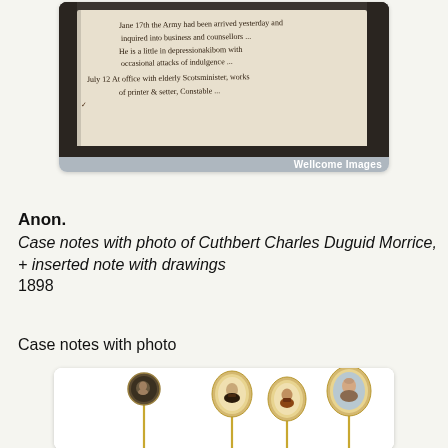[Figure (photo): Photograph of handwritten case notes in a book, with a 'Wellcome Images' watermark bar at bottom right.]
Anon.
Case notes with photo of Cuthbert Charles Duguid Morrice, + inserted note with drawings
1898
Case notes with photo
[Figure (photo): Photograph of four portrait stick pins with oval miniature portrait photographs mounted on gold-coloured pins.]